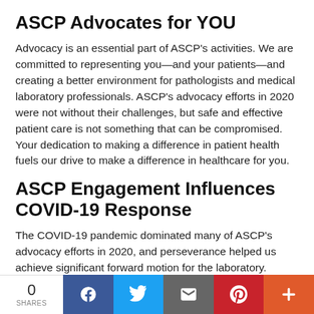ASCP Advocates for YOU
Advocacy is an essential part of ASCP's activities. We are committed to representing you—and your patients—and creating a better environment for pathologists and medical laboratory professionals. ASCP's advocacy efforts in 2020 were not without their challenges, but safe and effective patient care is not something that can be compromised. Your dedication to making a difference in patient health fuels our drive to make a difference in healthcare for you.
ASCP Engagement Influences COVID-19 Response
The COVID-19 pandemic dominated many of ASCP's advocacy efforts in 2020, and perseverance helped us achieve significant forward motion for the laboratory.
0 SHARES | Facebook | Twitter | Email | Pinterest | More